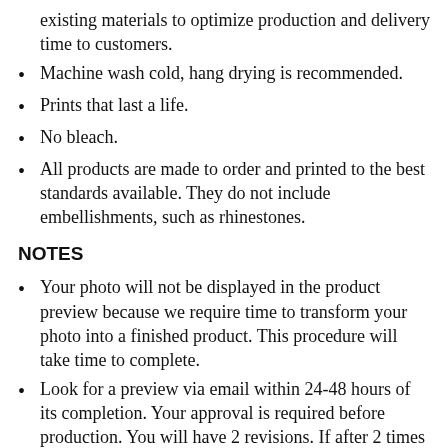existing materials to optimize production and delivery time to customers.
Machine wash cold, hang drying is recommended.
Prints that last a life.
No bleach.
All products are made to order and printed to the best standards available. They do not include embellishments, such as rhinestones.
NOTES
Your photo will not be displayed in the product preview because we require time to transform your photo into a finished product. This procedure will take time to complete.
Look for a preview via email within 24-48 hours of its completion. Your approval is required before production. You will have 2 revisions. If after 2 times you don't agree, we will charge you 20% of your order.
We will automatically fulfill your order if you do not get your confirmation within 24 hours